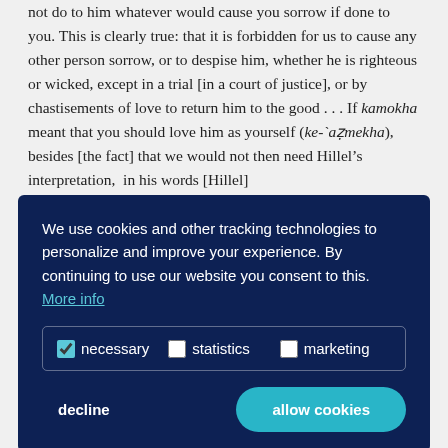not do to him whatever would cause you sorrow if done to you. This is clearly true: that it is forbidden for us to cause any other person sorrow, or to despise him, whether he is righteous or wicked, except in a trial [in a court of justice], or by chastisements of love to return him to the good . . . If kamokha meant that you should love him as yourself (ke-`azmekha), besides [the fact] that we would not then need Hillel's interpretation, in his words [Hillel]
[Figure (screenshot): Cookie consent banner with dark navy background. Text: 'We use cookies and other tracking technologies to personalize and improve your experience. By continuing to use our website you consent to this. More info'. Checkbox options for necessary (checked), statistics, and marketing. Buttons: decline and allow cookies.]
כנפשך (ve-ahavta le-re`akha ke-nafshekha; "Love